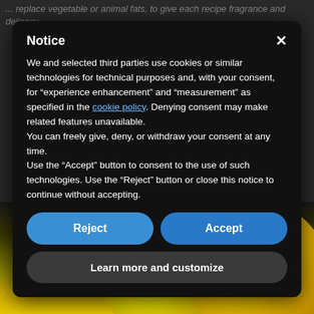... replace vegetable or animal fats, to give each recipe fragrance and delicacy.
Notice
We and selected third parties use cookies or similar technologies for technical purposes and, with your consent, for “experience enhancement” and “measurement” as specified in the cookie policy. Denying consent may make related features unavailable.
You can freely give, deny, or withdraw your consent at any time.
Use the “Accept” button to consent to the use of such technologies. Use the “Reject” button or close this notice to continue without accepting.
[Figure (screenshot): Cookie consent notice dialog box with Reject and Accept buttons and a Learn more and customize button, overlaid on a dark background with sunflower imagery at the bottom.]